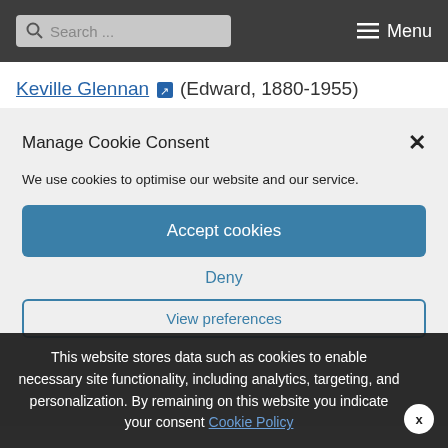Search ... Menu
Keville Glennan (Edward, 1880-1955)
Manage Cookie Consent
We use cookies to optimise our website and our service.
Accept cookies
Deny
View preferences
This website stores data such as cookies to enable necessary site functionality, including analytics, targeting, and personalization. By remaining on this website you indicate your consent Cookie Policy